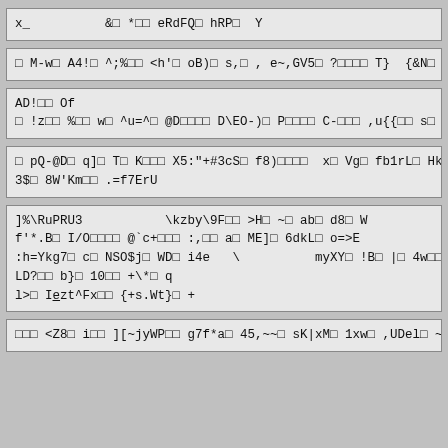x_          &□ *□□ eRdFQ□ hRP□  Y
□ M-w□ A4!□ ^;%□□ <h'□ oB)□ s,□ , e~,GV5□ ?□□□□ T}  {&N□ %+}  □ 9##&r
AD!□□ Of
□ !z□□ %□□ w□ ^u=^□ @D□□□□ D\EO-)}□ P□□□□ C-□□□ ,u{{□□ s□ c□ Xh□ D□ e}
□ pQ-@D□ q]□ T□ K□□□ X5:"+#3cS□ f8)□□□□  x□ Vg□ fb1rL□ Hk30cZ.zi□
3$□ 8W'Km□□ .=f7ErU
]%\RuPRU3           \kzby\9F□□ >H□ ~□ ab□ d8□ W
f'*.B□ I/O□□□□ @`c+□□□ :,□□ a□ ME]□ 6dkL□ o=>E
:h=Ykg7□ c□ NSO$j□ WD□ i4e   \          myXY□ !B□ |□ 4w□□ r6I{□ (KR{
LD?□□ b}□ 10□□ +\*□ q
l>□ Iezt^Fx□□ {+s.Wt}□ +
□□□ <Z8□ i□□ ][~jyWP□□ g7f*a□ 45,~~□ sK|xM□ 1xw□ ,UDel□ ~8□ -[6□ c